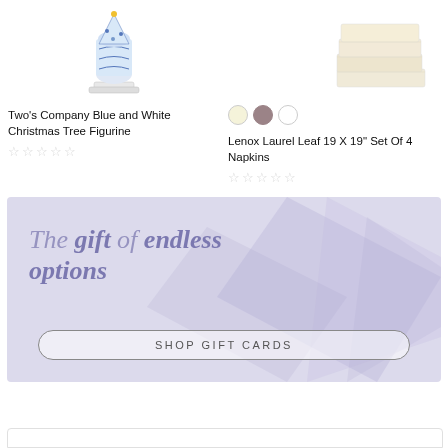[Figure (photo): Blue and white decorative Christmas tree figurine on small base]
[Figure (photo): Stack of folded cream/ivory fabric napkins]
Two's Company Blue and White Christmas Tree Figurine
[Figure (other): Three color swatches: cream, mauve/taupe, white]
Lenox Laurel Leaf 19 X 19" Set Of 4 Napkins
[Figure (other): Five empty star rating icons (no fill)]
[Figure (other): Five empty star rating icons (no fill)]
[Figure (illustration): Promotional banner with lavender/purple diagonal diamond pattern background and text: 'The gift of endless options' with a 'SHOP GIFT CARDS' button]